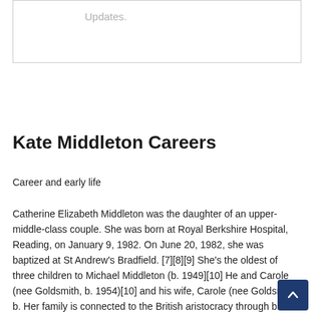Updates.
Kate Middleton Careers
Career and early life
Catherine Elizabeth Middleton was the daughter of an upper-middle-class couple. She was born at Royal Berkshire Hospital, Reading, on January 9, 1982. On June 20, 1982, she was baptized at St Andrew's Bradfield. [7][8][9] She's the oldest of three children to Michael Middleton (b. 1949][10] He and Carole (nee Goldsmith, b. 1954)[10] and his wife, Carole (nee Goldsmith; b. Her family is connected to the British aristocracy through blood connections. They also benefit financially from trust funds that they established